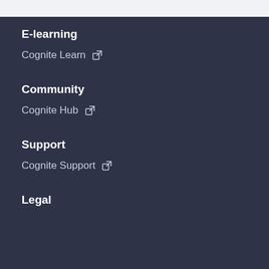E-learning
Cognite Learn ⧉
Community
Cognite Hub ⧉
Support
Cognite Support ⧉
Legal